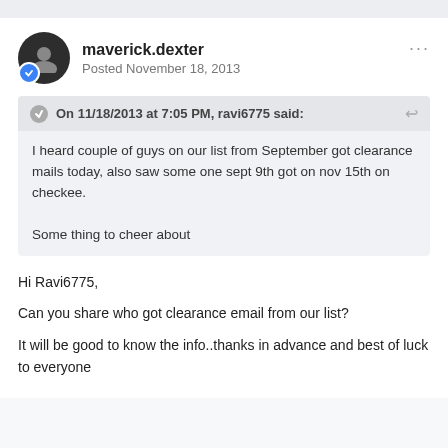maverick.dexter
Posted November 18, 2013
On 11/18/2013 at 7:05 PM, ravi6775 said:
I heard couple of guys on our list from September got clearance mails today, also saw some one sept 9th got on nov 15th on checkee.

Some thing to cheer about
Hi Ravi6775,
Can you share who got clearance email from our list?
It will be good to know the info..thanks in advance and best of luck to everyone